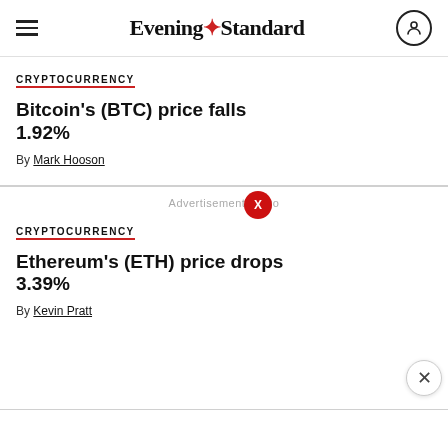Evening Standard
CRYPTOCURRENCY
Bitcoin's (BTC) price falls 1.92%
By Mark Hooson
Advertisement - jago
CRYPTOCURRENCY
Ethereum's (ETH) price drops 3.39%
By Kevin Pratt